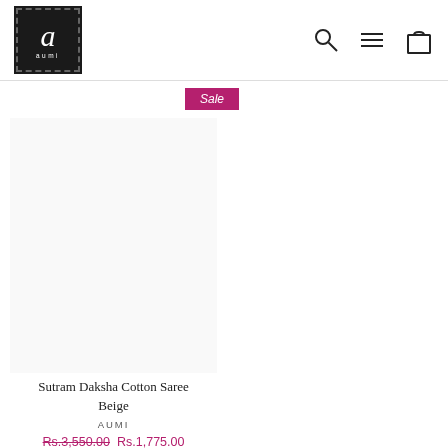[Figure (logo): Aumi brand logo — black square with dashed border, stylized italic 'a' in white and 'aumi' text below]
[Figure (other): Navigation icons: search (magnifying glass), hamburger menu, and shopping bag]
Sale
Sutram Daksha Cotton Saree Beige
AUMI
Rs.3,550.00 Rs.1,775.00